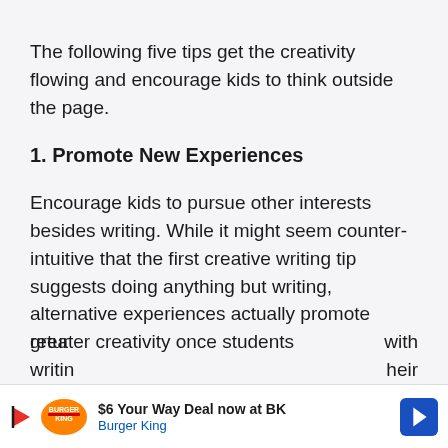The following five tips get the creativity flowing and encourage kids to think outside the page.
1. Promote New Experiences
Encourage kids to pursue other interests besides writing. While it might seem counter-intuitive that the first creative writing tip suggests doing anything but writing, alternative experiences actually promote greater creativity once students return to the page with their writing